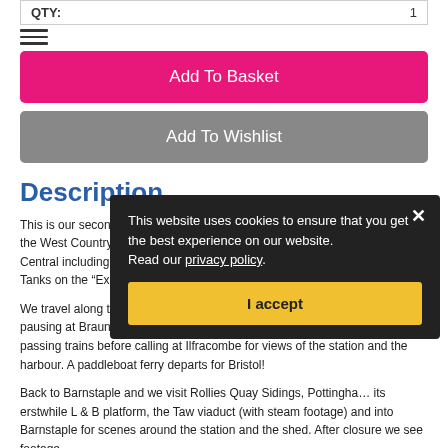QTY: 1
[Figure (other): Hamburger menu icon (three horizontal lines)]
Add To Basket
Add To Wishlist
Description
This is our second volume featuring the Southern Region “Withered Arm” in the West Country and starts with scenes along the SR main line to Exeter Central including railtours with 60022 Mallard, T9 No.120 and BR Standard Tanks on the “Exeter Flyer”.
We travel along the North Devon line to Barnstaple and then northwards pausing at Braunton to see the Mortehoe bankers at work with a variety of passing trains before calling at Ilfracombe for views of the station and the harbour. A paddleboat ferry departs for Bristol!
Back to Barnstaple and we visit Rollies Quay Sidings, Pottingha… its erstwhile L & B platform, the Taw viaduct (with steam footage) and into Barnstaple for scenes around the station and the shed. After closure we see footage
This website uses cookies to ensure that you get the best experience on our website. Read our privacy policy.
I accept